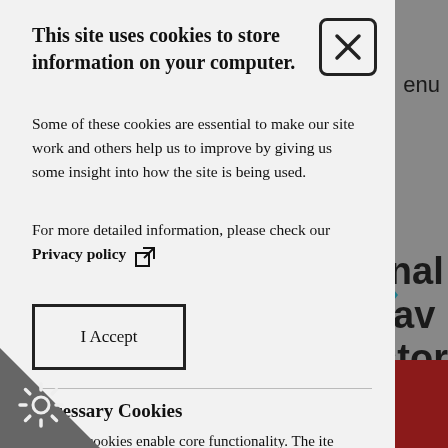This site uses cookies to store information on your computer.
Some of these cookies are essential to make our site work and others help us to improve by giving us some insight into how the site is being used.
For more detailed information, please check our Privacy policy
I Accept
Necessary Cookies
Necessary cookies enable core functionality. The site cannot function properly without these and can only be disabled by changing your